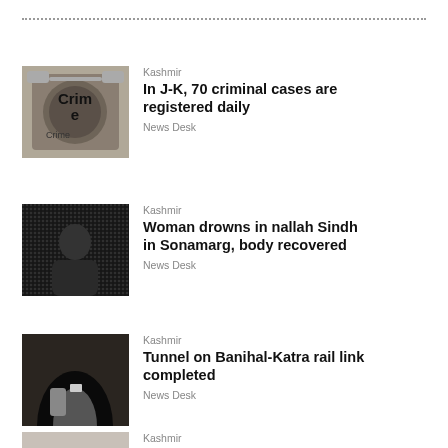[Figure (photo): Dotted horizontal rule divider line at the top of the page]
Kashmir
In J-K, 70 criminal cases are registered daily
News Desk
[Figure (photo): Black and white photo showing the word 'Crime' on what appears to be handcuffs or a crime-related image]
Kashmir
Woman drowns in nallah Sindh in Sonamarg, body recovered
News Desk
[Figure (photo): Dark grainy black and white photo of a person or silhouette]
Kashmir
Tunnel on Banihal-Katra rail link completed
News Desk
[Figure (photo): Dark photo appearing to show a tunnel or archway]
Kashmir
Body of 25-yr-old recovered from Jhelum in Srinagar